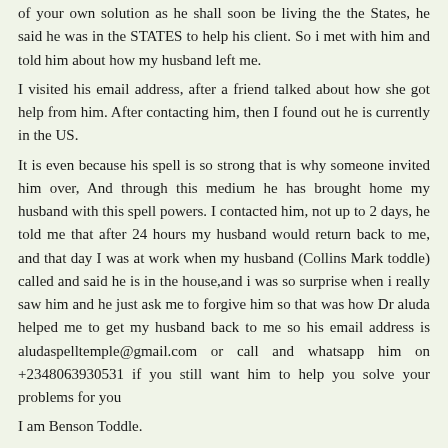of your own solution as he shall soon be living the the States, he said he was in the STATES to help his client. So i met with him and told him about how my husband left me.
I visited his email address, after a friend talked about how she got help from him. After contacting him, then I found out he is currently in the US.
It is even because his spell is so strong that is why someone invited him over, And through this medium he has brought home my husband with this spell powers. I contacted him, not up to 2 days, he told me that after 24 hours my husband would return back to me, and that day I was at work when my husband (Collins Mark toddle) called and said he is in the house,and i was so surprise when i really saw him and he just ask me to forgive him so that was how Dr aluda helped me to get my husband back to me so his email address is aludaspelltemple@gmail.com or call and whatsapp him on +2348063930531 if you still want him to help you solve your problems for you
I am Benson Toddle.
Reply
Unknown  March 22, 2017 at 1:07 PM